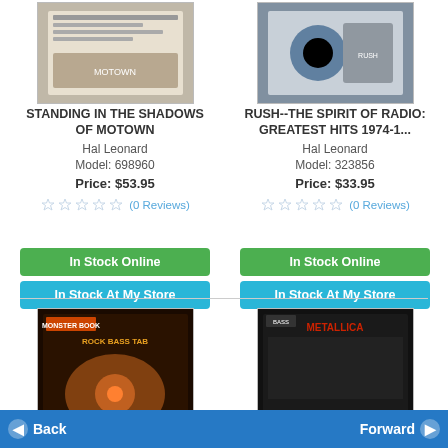[Figure (photo): Book cover for Standing in the Shadows of Motown]
STANDING IN THE SHADOWS OF MOTOWN
Hal Leonard
Model: 698960
Price: $53.95
(0 Reviews)
In Stock Online
In Stock At My Store
[Figure (photo): Book cover for Rush--The Spirit of Radio: Greatest Hits 1974-1...]
RUSH--THE SPIRIT OF RADIO: GREATEST HITS 1974-1...
Hal Leonard
Model: 323856
Price: $33.95
(0 Reviews)
In Stock Online
In Stock At My Store
[Figure (photo): Book cover for Monster Book of Rock Bass Tab]
[Figure (photo): Book cover for Metallica bass tab book]
Back   Forward